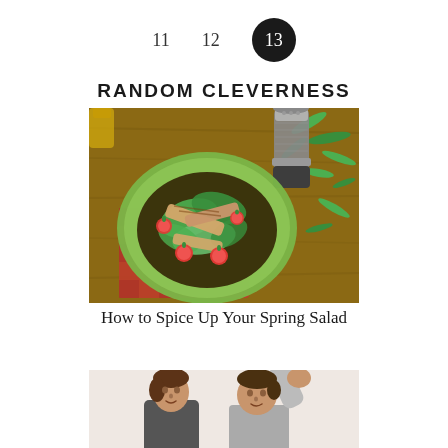11   12   13
RANDOM CLEVERNESS
[Figure (photo): Overhead view of a green plate with chicken spring salad topped with cherry tomatoes and greens, with a pepper grinder and scattered herbs on a wooden table with a red checkered cloth]
How to Spice Up Your Spring Salad
[Figure (photo): Two people, one with arms raised, photographed from the waist up against a light background]